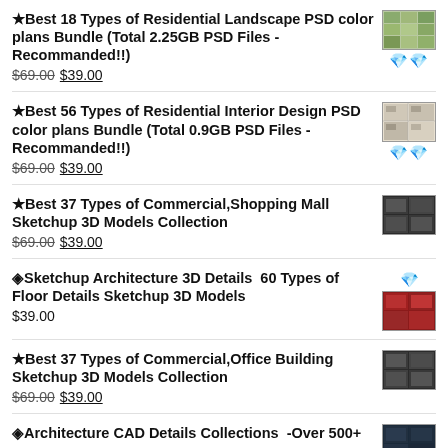★Best 18 Types of Residential Landscape PSD color plans Bundle (Total 2.25GB PSD Files - Recommanded!!) $69.00 $39.00
★Best 56 Types of Residential Interior Design PSD color plans Bundle (Total 0.9GB PSD Files - Recommanded!!) $69.00 $39.00
★Best 37 Types of Commercial,Shopping Mall Sketchup 3D Models Collection $69.00 $39.00
◈Sketchup Architecture 3D Details  60 Types of Floor Details Sketchup 3D Models $39.00
★Best 37 Types of Commercial,Office Building Sketchup 3D Models Collection $69.00 $39.00
◈Architecture CAD Details Collections  -Over 500+